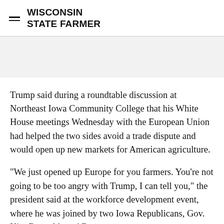WISCONSIN STATE FARMER
Trump said during a roundtable discussion at Northeast Iowa Community College that his White House meetings Wednesday with the European Union had helped the two sides avoid a trade dispute and would open up new markets for American agriculture.
"We just opened up Europe for you farmers. You're not going to be too angry with Trump, I can tell you," the president said at the workforce development event, where he was joined by two Iowa Republicans, Gov. Kim Reynolds and Rep.